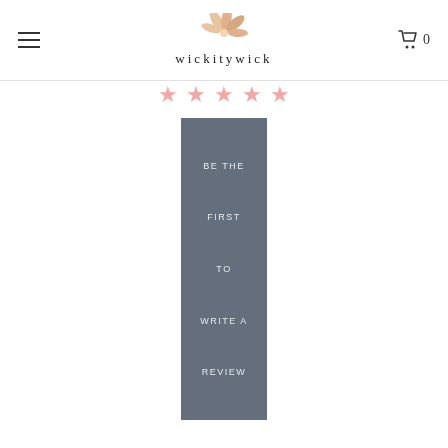wickitywick
[Figure (infographic): Five pink star rating icons in a row]
[Figure (infographic): Gray vertical button/banner with white uppercase text reading BE THE FIRST TO WRITE A REVIEW]